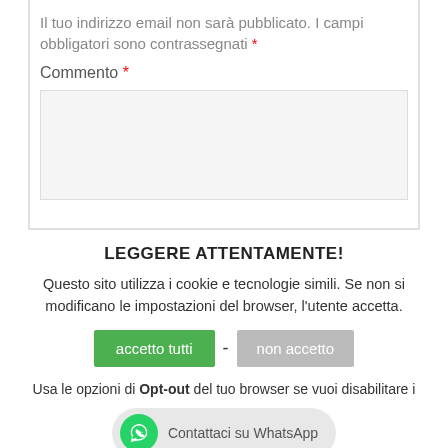Il tuo indirizzo email non sarà pubblicato. I campi obbligatori sono contrassegnati *
Commento *
[Figure (other): Empty textarea comment box with light gray background]
LEGGERE ATTENTAMENTE!
Questo sito utilizza i cookie e tecnologie simili. Se non si modificano le impostazioni del browser, l'utente accetta.
accetto tutti - non accetto
Usa le opzioni di Opt-out del tuo browser se vuoi disabilitare i
Contattaci su WhatsApp
Leggi l'informativa.